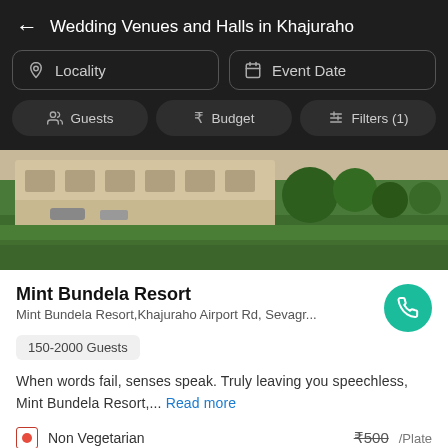Wedding Venues and Halls in Khajuraho
Locality
Event Date
Guests
Budget
Filters (1)
[Figure (photo): Outdoor lawn/garden area of Mint Bundela Resort with green grass and building in background]
Mint Bundela Resort
Mint Bundela Resort,Khajuraho Airport Rd, Sevagr...
150-2000 Guests
When words fail, senses speak. Truly leaving you speechless, Mint Bundela Resort,... Read more
Non Vegetarian  ₹500 /Plate
Vegetarian  ₹400 /Plate